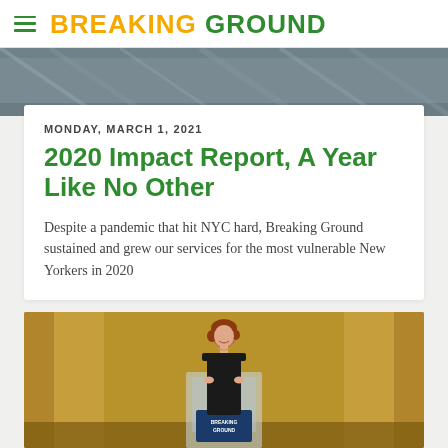BREAKING GROUND
[Figure (photo): Aerial or architectural photo, partially visible at top of page, appears to be a city/building scene]
MONDAY, MARCH 1, 2021
2020 Impact Report, A Year Like No Other
Despite a pandemic that hit NYC hard, Breaking Ground sustained and grew our services for the most vulnerable New Yorkers in 2020
[Figure (photo): A woman with red hair in a black dress speaking at a podium/lectern on a stage with golden curtains in the background. A blue Breaking Ground sign is visible at the podium.]